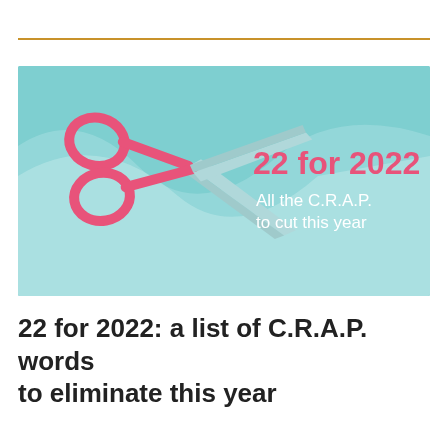[Figure (illustration): Promotional banner image with light teal/aqua background showing pink scissors cutting through white fabric/paper. Text overlay on right side reads '22 for 2022' in bold pink and 'All the C.R.A.P. to cut this year' in white.]
22 for 2022: a list of C.R.A.P. words to eliminate this year